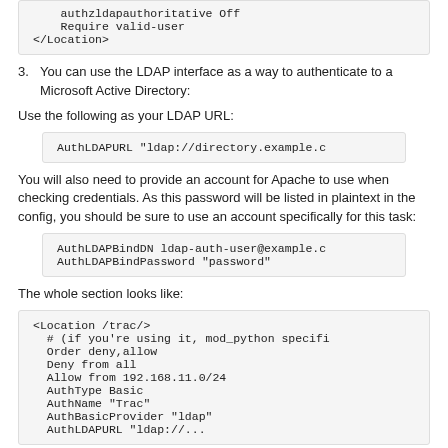authzldapauthoritative Off
    Require valid-user
</Location>
3. You can use the LDAP interface as a way to authenticate to a Microsoft Active Directory:
Use the following as your LDAP URL:
AuthLDAPURL "ldap://directory.example.c
You will also need to provide an account for Apache to use when checking credentials. As this password will be listed in plaintext in the config, you should be sure to use an account specifically for this task:
AuthLDAPBindDN ldap-auth-user@example.c
AuthLDAPBindPassword "password"
The whole section looks like:
<Location /trac/>
  # (if you're using it, mod_python specifi
  Order deny,allow
  Deny from all
  Allow from 192.168.11.0/24
  AuthType Basic
  AuthName "Trac"
  AuthBasicProvider "ldap"
  AuthLDAPURL "ldap://...